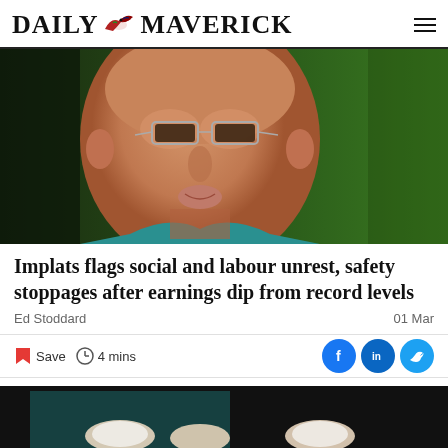DAILY MAVERICK
[Figure (photo): Close-up portrait of a middle-aged man with glasses against a green background]
Implats flags social and labour unrest, safety stoppages after earnings dip from record levels
Ed Stoddard
01 Mar
Save   4 mins
[Figure (photo): Partial photo at bottom of page, dark background with hands visible]